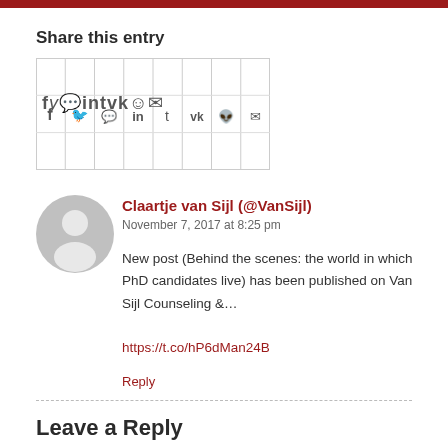Share this entry
[Figure (other): Social media sharing icons grid: Facebook, Twitter, WhatsApp, Pinterest, Tumblr, VK, Reddit, Email]
Claartje van Sijl (@VanSijl)
November 7, 2017 at 8:25 pm
New post (Behind the scenes: the world in which PhD candidates live) has been published on Van Sijl Counseling &…
https://t.co/hP6dMan24B
Reply
Leave a Reply